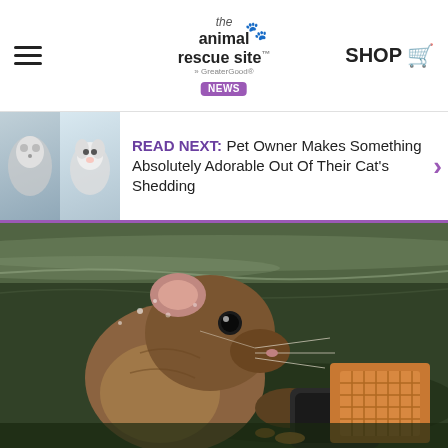the animal rescue site — GreaterGood News — SHOP
READ NEXT: Pet Owner Makes Something Absolutely Adorable Out Of Their Cat's Shedding
[Figure (photo): A mouse or vole partially submerged in water, gripping a can with crackers nearby, close-up nature photograph]